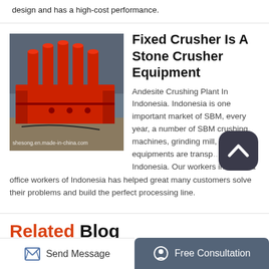design and has a high-cost performance.
Fixed Crusher Is A Stone Crusher Equipment
[Figure (photo): Red industrial stone crusher / flotation machine with multiple vertical cylinders on top, industrial facility background. Watermark: shesong.en.made-in-china.com]
Andesite Crushing Plant In Indonesia. Indonesia is one important market of SBM, every year, a number of SBM crushing machines, grinding mill, accessory equipments are transported to Indonesia. Our workers in overseas office workers of Indonesia has helped great many customers solve their problems and build the perfect processing line.
Related Blog
Send Message
Free Consultation